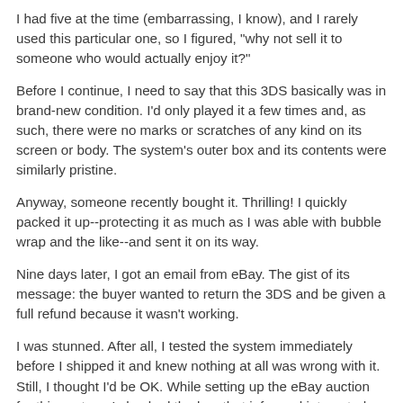I had five at the time (embarrassing, I know), and I rarely used this particular one, so I figured, "why not sell it to someone who would actually enjoy it?"
Before I continue, I need to say that this 3DS basically was in brand-new condition. I'd only played it a few times and, as such, there were no marks or scratches of any kind on its screen or body. The system's outer box and its contents were similarly pristine.
Anyway, someone recently bought it. Thrilling! I quickly packed it up--protecting it as much as I was able with bubble wrap and the like--and sent it on its way.
Nine days later, I got an email from eBay. The gist of its message: the buyer wanted to return the 3DS and be given a full refund because it wasn't working.
I was stunned. After all, I tested the system immediately before I shipped it and knew nothing at all was wrong with it. Still, I thought I'd be OK. While setting up the eBay auction for this system, I checked the box that informed interested